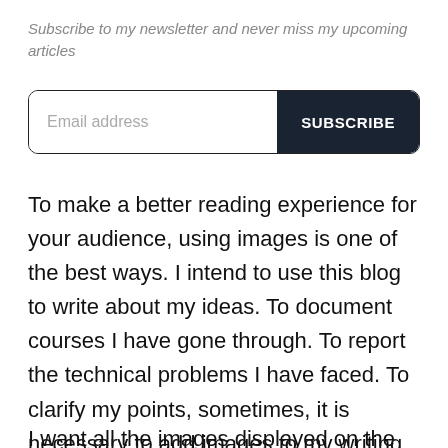Subscribe to my newsletter and never miss my upcoming articles
[Figure (other): Email subscription input field with placeholder 'Email address' and a dark SUBSCRIBE button]
To make a better reading experience for your audience, using images is one of the best ways. I intend to use this blog to write about my ideas. To document courses I have gone through. To report the technical problems I have faced. To clarify my points, sometimes, it is necessary to add images to my writing.
I want all the images displayed on the blog to be